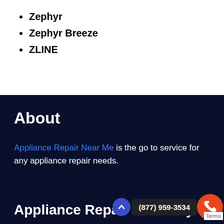Zephyr
Zephyr Breeze
ZLINE
About
Appliance Repair Near Me is the go to service for any appliance repair needs.
Appliance Repair Directory